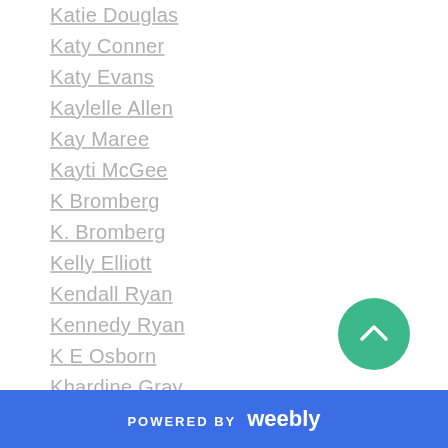Katie Douglas
Katy Conner
Katy Evans
Kaylelle Allen
Kay Maree
Kayti McGee
K Bromberg
K. Bromberg
Kelly Elliott
Kendall Ryan
Kennedy Ryan
K E Osborn
Khardine Gray
Kim Karr
Kindle Alexander
Kira Archer
K L Krieg
POWERED BY weebly